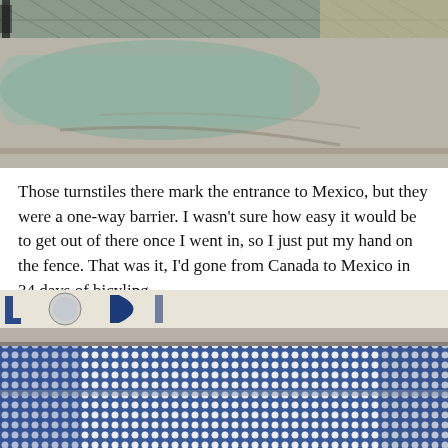[Figure (photo): Close-up photo of a concrete area near a border crossing with chain-link fence visible at top, showing a worn pavement surface with faint markings.]
Those turnstiles there mark the entrance to Mexico, but they were a one-way barrier. I wasn't sure how easy it would be to get out of there once I went in, so I just put my hand on the fence. That was it, I'd gone from Canada to Mexico in 34 days of bicyling.
[Figure (photo): Close-up photo of a metal fence or gate with a blue and white dot-pattern mesh, with partial letters visible at the top left corner, likely at a border crossing.]